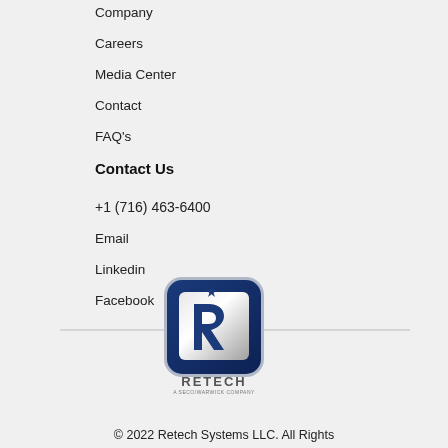Company
Careers
Media Center
Contact
FAQ's
Contact Us
+1 (716) 463-6400
Email
Linkedin
Facebook
[Figure (logo): Retech Systems LLC logo — blue rounded square with a stylized R and star, with text RETECH A SECO/WARWICK COMPANY below]
© 2022 Retech Systems LLC. All Rights